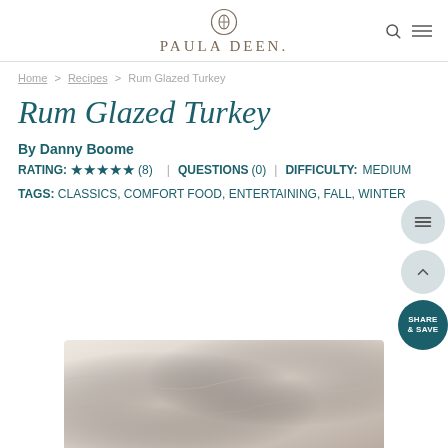PAULA DEEN
Home > Recipes > Rum Glazed Turkey
Rum Glazed Turkey
By Danny Boome
RATING: ★★★★★ (8) | QUESTIONS (0) | DIFFICULTY: MEDIUM
TAGS: CLASSICS, COMFORT FOOD, ENTERTAINING, FALL, WINTER
[Figure (photo): Food photograph of Rum Glazed Turkey, showing a light beige/cream surface]